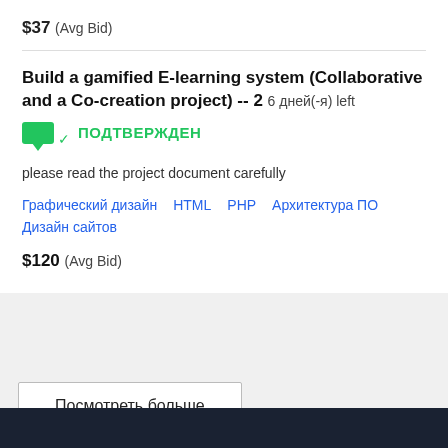$37  (Avg Bid)
Build a gamified E-learning system (Collaborative and a Co-creation project) -- 2  6 дней(-я) left
ПОДТВЕРЖДЕН
please read the project document carefully
Графический дизайн
HTML
PHP
Архитектура ПО
Дизайн сайтов
$120  (Avg Bid)
Посмотреть больше